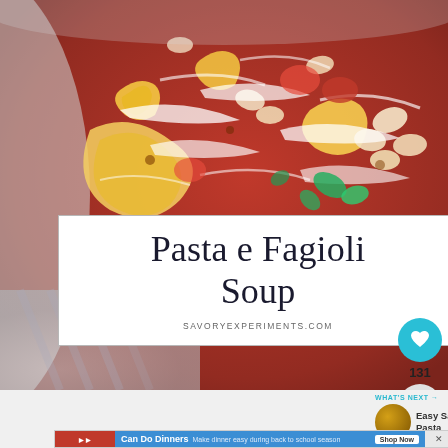[Figure (photo): Close-up photo of Pasta e Fagioli soup in a bowl, showing pasta shells, beans in tomato-based broth topped with shredded parmesan cheese and fresh herbs]
Pasta e Fagioli Soup
SAVORYEXPERIMENTS.COM
131
WHAT'S NEXT → Easy Sausage Pasta
[Figure (photo): Advertisement banner: Can Do Dinners - Make dinner easy during back to school season - Shop Now button]